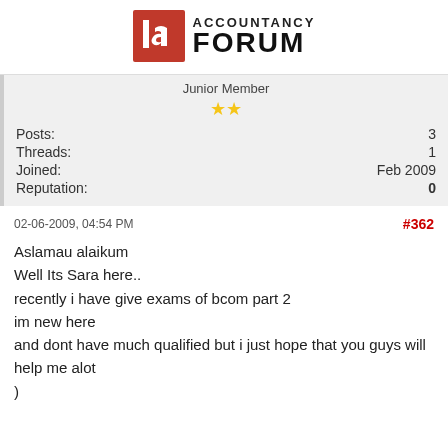[Figure (logo): Accountancy Forum logo with red stylized 'ia' icon and bold black text ACCOUNTANCY FORUM]
Junior Member
★★
Posts: 3
Threads: 1
Joined: Feb 2009
Reputation: 0
02-06-2009, 04:54 PM
#362
Aslamau alaikum
Well Its Sara here..
recently i have give exams of bcom part 2
im new here
and dont have much qualified but i just hope that you guys will help me alot
)